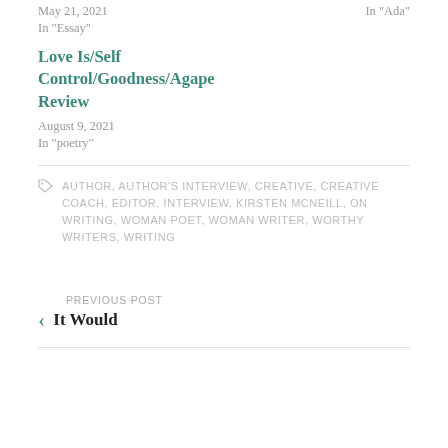May 21, 2021
In "Essay"
In "Ada"
Love Is/Self Control/Goodness/Agape Review
August 9, 2021
In "poetry"
AUTHOR, AUTHOR'S INTERVIEW, CREATIVE, CREATIVE COACH, EDITOR, INTERVIEW, KIRSTEN MCNEILL, ON WRITING, WOMAN POET, WOMAN WRITER, WORTHY WRITERS, WRITING
PREVIOUS POST
It Would